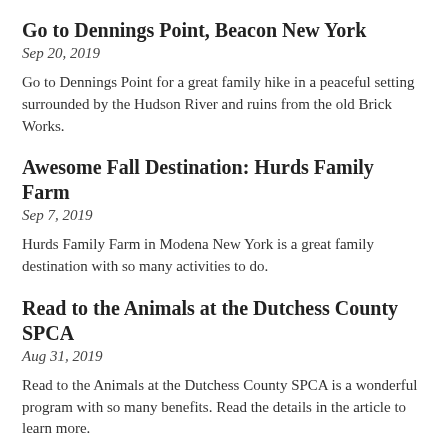Go to Dennings Point, Beacon New York
Sep 20, 2019
Go to Dennings Point for a great family hike in a peaceful setting surrounded by the Hudson River and ruins from the old Brick Works.
Awesome Fall Destination: Hurds Family Farm
Sep 7, 2019
Hurds Family Farm in Modena New York is a great family destination with so many activities to do.
Read to the Animals at the Dutchess County SPCA
Aug 31, 2019
Read to the Animals at the Dutchess County SPCA is a wonderful program with so many benefits. Read the details in the article to learn more.